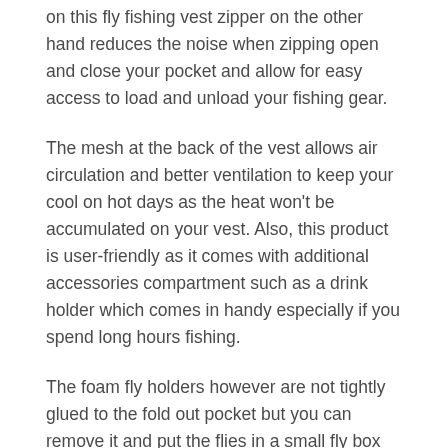on this fly fishing vest zipper on the other hand reduces the noise when zipping open and close your pocket and allow for easy access to load and unload your fishing gear.
The mesh at the back of the vest allows air circulation and better ventilation to keep your cool on hot days as the heat won't be accumulated on your vest. Also, this product is user-friendly as it comes with additional accessories compartment such as a drink holder which comes in handy especially if you spend long hours fishing.
The foam fly holders however are not tightly glued to the fold out pocket but you can remove it and put the flies in a small fly box instead and put that box in one of the larger pockets of your vest for safe-keeping.
Suitable for :